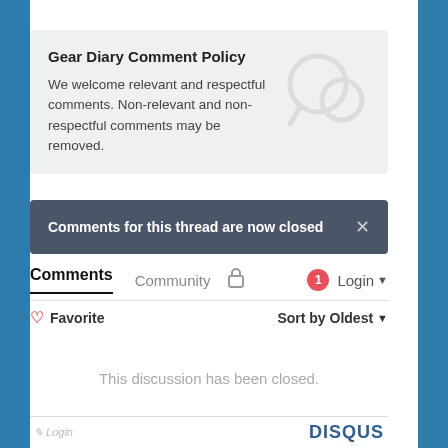Gear Diary Comment Policy
We welcome relevant and respectful comments. Non-relevant and non-respectful comments may be removed.
Comments for this thread are now closed
Comments  Community  🔒  1  Login ▾
♡ Favorite    Sort by Oldest ▾
This discussion has been closed.